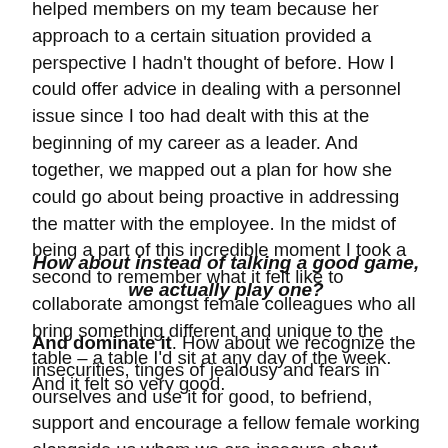helped members on my team because her approach to a certain situation provided a perspective I hadn't thought of before. How I could offer advice in dealing with a personnel issue since I too had dealt with this at the beginning of my career as a leader. And together, we mapped out a plan for how she could go about being proactive in addressing the matter with the employee. In the midst of being a part of this incredible moment I took a second to remember what it felt like to collaborate amongst female colleagues who all bring something different and unique to the table – a table I'd sit at any day of the week. And it felt so very good.
How about instead of talking a good game, we actually play one?
And dominate it. How about we recognize the insecurities, tinges of jealousy and fears in ourselves and use it for good, to befriend, support and encourage a fellow female working alongside us whom we are insecure about, slightly jealous of and who we sorta fear for how badass she is? Channeling all